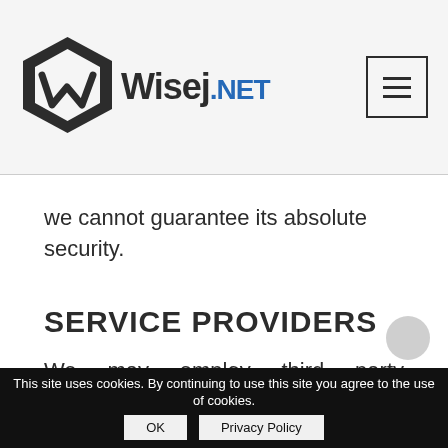Wisej.NET
we cannot guarantee its absolute security.
SERVICE PROVIDERS
We may employ third party companies and individuals to facilitate our Service (“Service Providers”), to provide the Service on our behalf, to perform Service-related services or to assist us in analyzing how our Service is used.
These third parties have access to your Personal Da...
This site uses cookies. By continuing to use this site you agree to the use of cookies. OK Privacy Policy